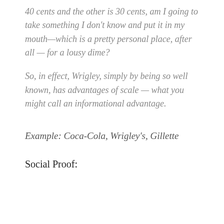40 cents and the other is 30 cents, am I going to take something I don't know and put it in my mouth—which is a pretty personal place, after all — for a lousy dime?
So, in effect, Wrigley, simply by being so well known, has advantages of scale — what you might call an informational advantage.
Example: Coca-Cola, Wrigley's, Gillette
Social Proof: